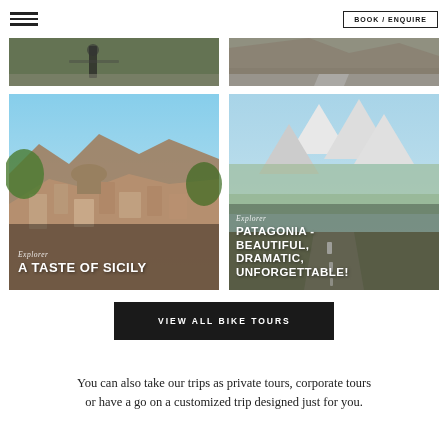[Figure (screenshot): Hamburger menu icon (three horizontal lines)]
BOOK / ENQUIRE
[Figure (photo): Partial photo of cyclist on road]
[Figure (photo): Partial photo of mountain road]
[Figure (photo): Explorer: A TASTE OF SICILY - aerial view of Sicilian town with baroque architecture]
[Figure (photo): Explorer: PATAGONIA - BEAUTIFUL, DRAMATIC, UNFORGETTABLE! - mountain road in Patagonia with snowy peaks]
VIEW ALL BIKE TOURS
You can also take our trips as private tours, corporate tours or have a go on a customized trip designed just for you.